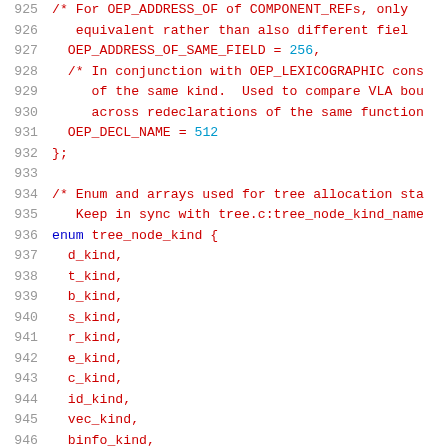Source code listing, lines 925–946, showing C enum definitions for OEP_ADDRESS_OF_SAME_FIELD, OEP_DECL_NAME, and tree_node_kind enum with members d_kind, t_kind, b_kind, s_kind, r_kind, e_kind, c_kind, id_kind, vec_kind, binfo_kind